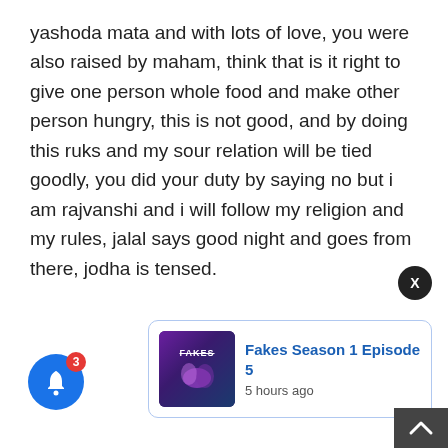yashoda mata and with lots of love, you were also raised by maham, think that is it right to give one person whole food and make other person hungry, this is not good, and by doing this ruks and my sour relation will be tied goodly, you did your duty by saying no but i am rajvanshi and i will follow my religion and my rules, jalal says good night and goes from there, jodha is tensed.
[Figure (screenshot): A notification widget showing: a blue bell icon with red badge showing '3', a close X button, a notification card for 'Fakes Season 1 Episode 5' with thumbnail and '5 hours ago' timestamp, and a scroll-to-top arrow button.]